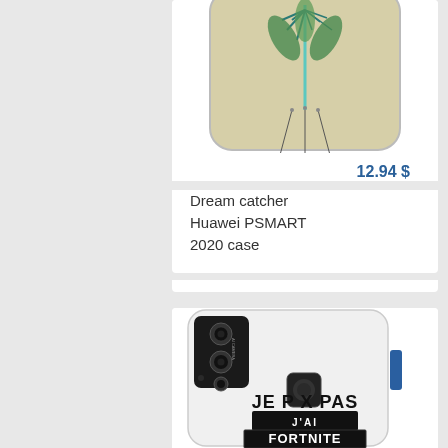[Figure (photo): Top portion of a phone case product card showing a dream catcher design phone case (Huawei PSMART 2020). The case has a beige/cream background with a teal and black dream catcher illustration.]
12.94 $
Dream catcher Huawei PSMART 2020 case
[Figure (photo): A white phone case for Huawei P Smart displayed on the phone itself. The case features a black graphic design with text 'JE PEUX PAS J'AI FORTNITE' in Fortnite-style lettering with silhouette game imagery.]